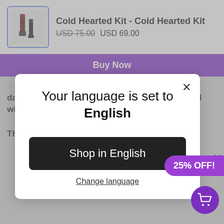Cold Hearted Kit - Cold Hearted Kit
USD 75.00  USD 69.00
Buy Now
Your language is set to English
Shop in English
Change language
days. More than a half of our orders are shipped within 5 business days or less.
The paper products used in our packaging are
25% OFF!